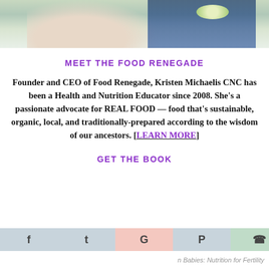[Figure (photo): Partial photo of a person outdoors, cropped at top]
MEET THE FOOD RENEGADE
Founder and CEO of Food Renegade, Kristen Michaelis CNC has been a Health and Nutrition Educator since 2008. She's a passionate advocate for REAL FOOD — food that's sustainable, organic, local, and traditionally-prepared according to the wisdom of our ancestors. [LEARN MORE]
GET THE BOOK
Babies: Nutrition for Fertility